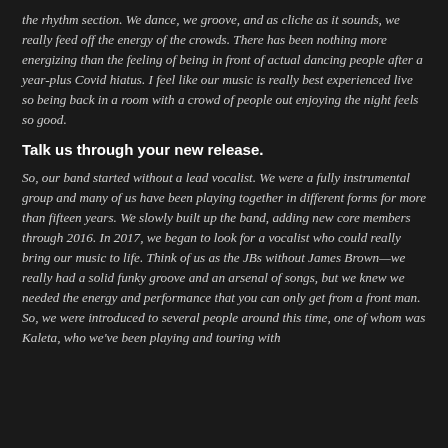the rhythm section. We dance, we groove, and as cliche as it sounds, we really feed off the energy of the crowds. There has been nothing more energizing than the feeling of being in front of actual dancing people after a year-plus Covid hiatus. I feel like our music is really best experienced live so being back in a room with a crowd of people out enjoying the night feels so good.
Talk us through your new release.
So, our band started without a lead vocalist. We were a fully instrumental group and many of us have been playing together in different forms for more than fifteen years. We slowly built up the band, adding new core members through 2016. In 2017, we began to look for a vocalist who could really bring our music to life. Think of us as the JBs without James Brown—we really had a solid funky groove and an arsenal of songs, but we knew we needed the energy and performance that you can only get from a front man. So, we were introduced to several people around this time, one of whom was Kaleta, who we've been playing and touring with